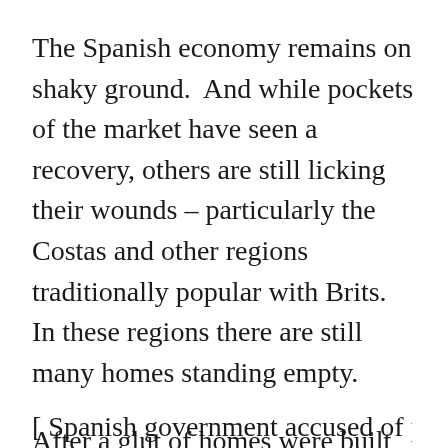The Spanish economy remains on shaky ground.  And while pockets of the market have seen a recovery, others are still licking their wounds – particularly the Costas and other regions traditionally popular with Brits. In these regions there are still many homes standing empty.
After a glut of homes were built illegally some reports show that British buyers have been marketed properties that are due to be bulldozed – so extreme care is needed.
[ Spanish government accused of pushing